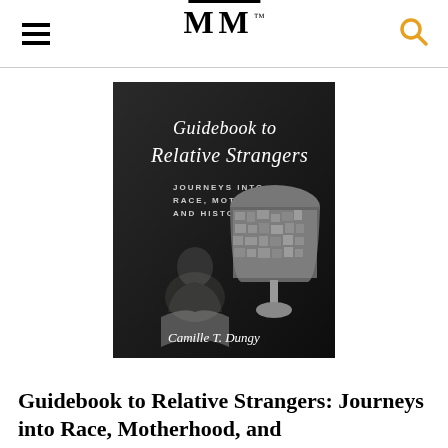MM
[Figure (photo): Book cover of 'Guidebook to Relative Strangers: Journeys into Race, Motherhood, and History' by Camille T. Dungy. Black and white image showing a child reading a book next to a lamp with a decorative shade covered in images.]
Guidebook to Relative Strangers: Journeys into Race, Motherhood, and